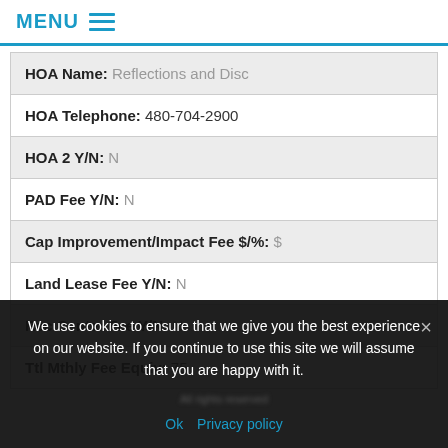MENU
| HOA Name: | Reflections and Disc |
| HOA Telephone: | 480-704-2900 |
| HOA 2 Y/N: | N |
| PAD Fee Y/N: | N |
| Cap Improvement/Impact Fee $/%: | $ |
| Land Lease Fee Y/N: | N |
| Rec Center Fee Y/N: | N |
| Ttl Mthly Fee Equiv: | 75 |
We use cookies to ensure that we give you the best experience on our website. If you continue to use this site we will assume that you are happy with it.
Ok  Privacy policy